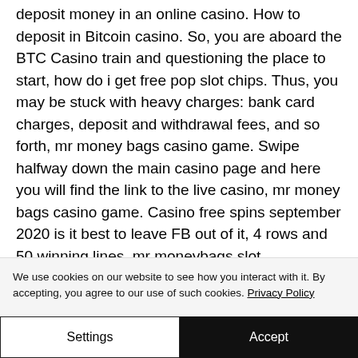deposit money in an online casino. How to deposit in Bitcoin casino. So, you are aboard the BTC Casino train and questioning the place to start, how do i get free pop slot chips. Thus, you may be stuck with heavy charges: bank card charges, deposit and withdrawal fees, and so forth, mr money bags casino game. Swipe halfway down the main casino page and here you will find the link to the live casino, mr money bags casino game. Casino free spins september 2020 is it best to leave FB out of it, 4 rows and 50 winning lines, mr moneybags slot
We use cookies on our website to see how you interact with it. By accepting, you agree to our use of such cookies. Privacy Policy
Settings
Accept